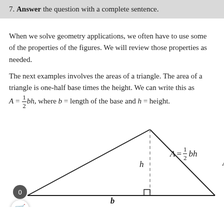7. Answer the question with a complete sentence.
When we solve geometry applications, we often have to use some of the properties of the figures. We will review those properties as needed.
The next examples involves the areas of a triangle. The area of a triangle is one-half base times the height. We can write this as A = 1/2 bh, where b = length of the base and h = height.
[Figure (illustration): Triangle diagram showing base b and height h with dashed vertical line from apex to base, right angle marker at foot of height, and formula A = 1/2 bh labeled to the right.]